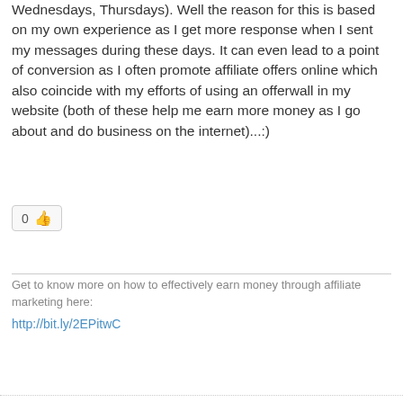Wednesdays, Thursdays). Well the reason for this is based on my own experience as I get more response when I sent my messages during these days. It can even lead to a point of conversion as I often promote affiliate offers online which also coincide with my efforts of using an offerwall in my website (both of these help me earn more money as I go about and do business on the internet)...:)
[Figure (other): Like button showing count 0 with thumbs up emoji icon]
Get to know more on how to effectively earn money through affiliate marketing here:
http://bit.ly/2EPitwC